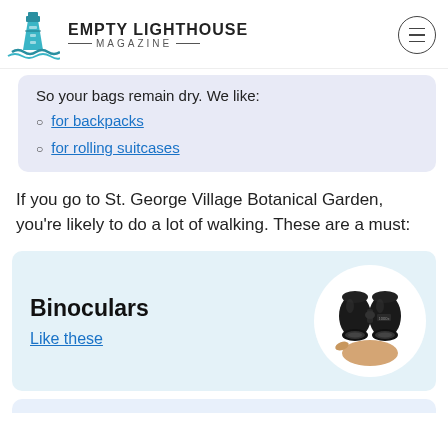EMPTY LIGHTHOUSE MAGAZINE
So your bags remain dry. We like:
for backpacks
for rolling suitcases
If you go to St. George Village Botanical Garden, you're likely to do a lot of walking. These are a must:
Binoculars
Like these
[Figure (photo): A hand holding a pair of black compact binoculars, shown in a white circular frame on a light blue card background.]